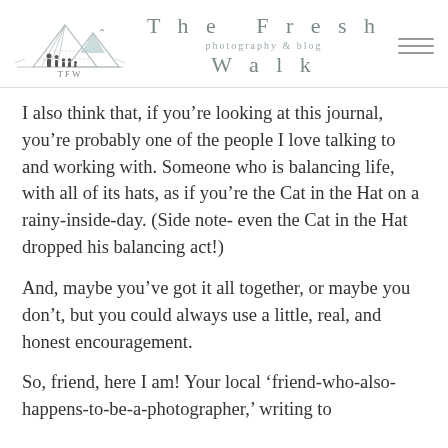The Fresh Walk — photography & blog
I also think that, if you're looking at this journal, you're probably one of the people I love talking to and working with. Someone who is balancing life, with all of its hats, as if you're the Cat in the Hat on a rainy-inside-day. (Side note- even the Cat in the Hat dropped his balancing act!)
And, maybe you've got it all together, or maybe you don't, but you could always use a little, real, and honest encouragement.
So, friend, here I am! Your local 'friend-who-also-happens-to-be-a-photographer,' writing to